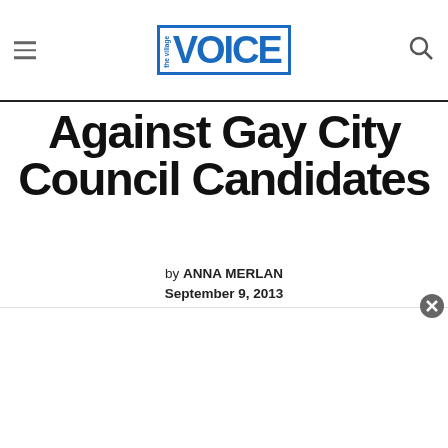The Village Voice
Against Gay City Council Candidates
by ANNA MERLAN
September 9, 2013
[Figure (other): Social sharing icons: Facebook, Twitter, Email]
[Figure (other): Advertisement banner with close button]